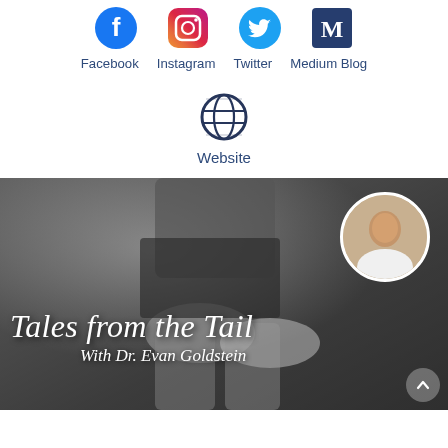[Figure (infographic): Social media icons row: Facebook (blue circle with f), Instagram (gradient camera), Twitter (blue bird), Medium Blog (M logo)]
Facebook   Instagram   Twitter   Medium Blog
[Figure (infographic): Globe/website icon in dark blue]
Website
[Figure (photo): Podcast cover image in black and white showing hands touching, with a circular headshot of Dr. Evan Goldstein in the upper right. Text overlay reads 'Tales from the Tail With Dr. Evan Goldstein' in white italic script font.]